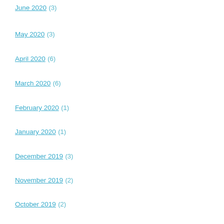June 2020 (3)
May 2020 (3)
April 2020 (6)
March 2020 (6)
February 2020 (1)
January 2020 (1)
December 2019 (3)
November 2019 (2)
October 2019 (2)
September 2019 (2)
August 2019 (2)
July 2019 (1)
May 2019 (7)
April 2019 (6)
March 2019 (1)